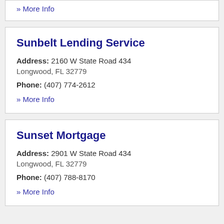» More Info
Sunbelt Lending Service
Address: 2160 W State Road 434 Longwood, FL 32779
Phone: (407) 774-2612
» More Info
Sunset Mortgage
Address: 2901 W State Road 434 Longwood, FL 32779
Phone: (407) 788-8170
» More Info